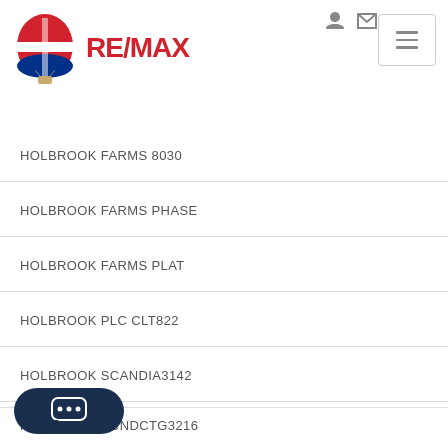[Figure (logo): RE/MAX logo with hot air balloon icon and red RE/MAX text]
HOLBROOK FARMS 8030
HOLBROOK FARMS PHASE
HOLBROOK FARMS PLAT
HOLBROOK PLC CLT822
HOLBROOK SCANDIA3142
HOLBROOK SCND3207
HOLBROOK SCNDCTG3216